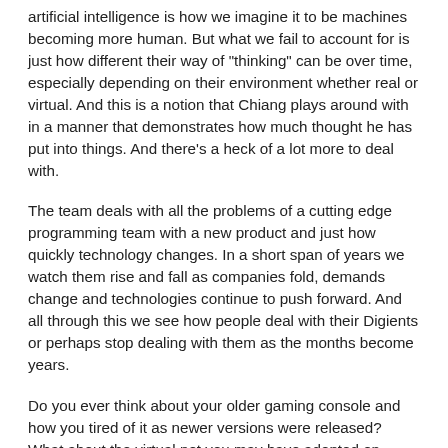artificial intelligence is how we imagine it to be machines becoming more human. But what we fail to account for is just how different their way of "thinking" can be over time, especially depending on their environment whether real or virtual. And this is a notion that Chiang plays around with in a manner that demonstrates how much thought he has put into things. And there's a heck of a lot more to deal with.
The team deals with all the problems of a cutting edge programming team with a new product and just how quickly technology changes. In a short span of years we watch them rise and fall as companies fold, demands change and technologies continue to push forward. And all through this we see how people deal with their Digients or perhaps stop dealing with them as the months become years.
Do you ever think about your older gaming console and how you tired of it as newer versions were released? What about the virtual pet you may have adopted on some website or specialized device? Or even the last time you played a particular game that was all the rage before but is now a "classic" somewhat past its time? The Digients face a lot of